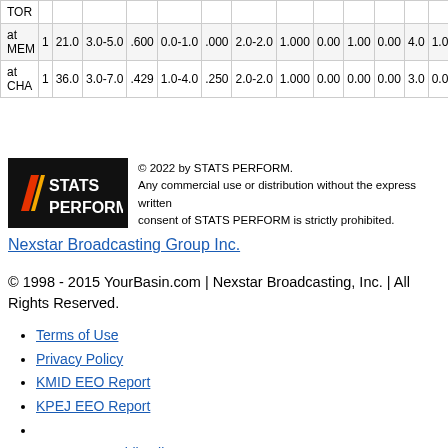|  |  |  | 3.0-5.0 | .600 | 0.0-1.0 | .000 | 2.0-2.0 | 1.000 | 0.00 | 1.00 | 0.00 | 4.0 | 1.0 |
| --- | --- | --- | --- | --- | --- | --- | --- | --- | --- | --- | --- | --- | --- |
| TOR |  |  |  |  |  |  |  |  |  |  |  |  |  |
| at MEM | 1 | 21.0 | 3.0-5.0 | .600 | 0.0-1.0 | .000 | 2.0-2.0 | 1.000 | 0.00 | 1.00 | 0.00 | 4.0 | 1.0 |
| at CHA | 1 | 36.0 | 3.0-7.0 | .429 | 1.0-4.0 | .250 | 2.0-2.0 | 1.000 | 0.00 | 0.00 | 0.00 | 3.0 | 0.0 |
[Figure (logo): STATS PERFORM logo — black background with red/yellow slash marks and white text]
© 2022 by STATS PERFORM. Any commercial use or distribution without the express written consent of STATS PERFORM is strictly prohibited.
Nexstar Broadcasting Group Inc.
© 1998 - 2015 YourBasin.com | Nexstar Broadcasting, Inc. | All Rights Reserved.
Terms of Use
Privacy Policy
KMID EEO Report
KPEJ EEO Report
KMID FCC Public File
KPEJ FCC Public File
Nexstar CC Certification